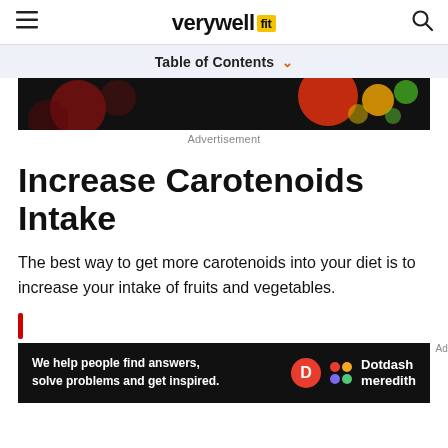verywell fit
Table of Contents
[Figure (photo): Dark background with colorful bokeh circles in red, orange, green tones — advertisement image]
Advertisement
Increase Carotenoids Intake
The best way to get more carotenoids into your diet is to increase your intake of fruits and vegetables.
[Figure (photo): Dotdash Meredith advertisement banner: 'We help people find answers, solve problems and get inspired.']